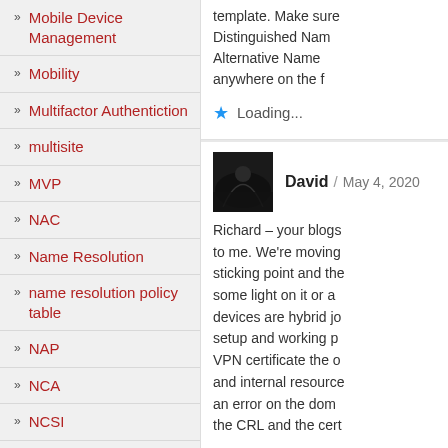» Mobile Device Management
» Mobility
» Multifactor Authentiction
» multisite
» MVP
» NAC
» Name Resolution
» name resolution policy table
» NAP
» NCA
» NCSI
» NDES
template. Make sure Distinguished Name, Alternative Name, anywhere on the f
Loading...
David / May 4, 2020
Richard – your blogs to me. We're moving sticking point and the some light on it or a devices are hybrid jo setup and working p VPN certificate the o and internal resource an error on the dom the CRL and the cert